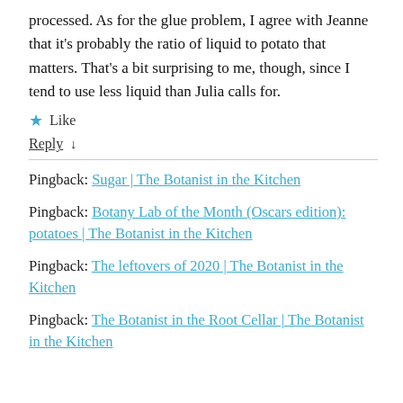processed. As for the glue problem, I agree with Jeanne that it's probably the ratio of liquid to potato that matters. That's a bit surprising to me, though, since I tend to use less liquid than Julia calls for.
★ Like
Reply ↓
Pingback: Sugar | The Botanist in the Kitchen
Pingback: Botany Lab of the Month (Oscars edition): potatoes | The Botanist in the Kitchen
Pingback: The leftovers of 2020 | The Botanist in the Kitchen
Pingback: The Botanist in the Root Cellar | The Botanist in the Kitchen